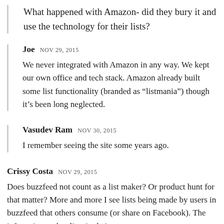What happened with Amazon- did they bury it and use the technology for their lists?
Joe NOV 29, 2015
We never integrated with Amazon in any way. We kept our own office and tech stack. Amazon already built some list functionality (branded as “listmania”) though it’s been long neglected.
Vasudev Ram NOV 30, 2015
I remember seeing the site some years ago.
Crissy Costa NOV 29, 2015
Does buzzfeed not count as a list maker? Or product hunt for that matter? More and more I see lists being made by users in buzzfeed that others consume (or share on Facebook). The infatuation makes lists in their